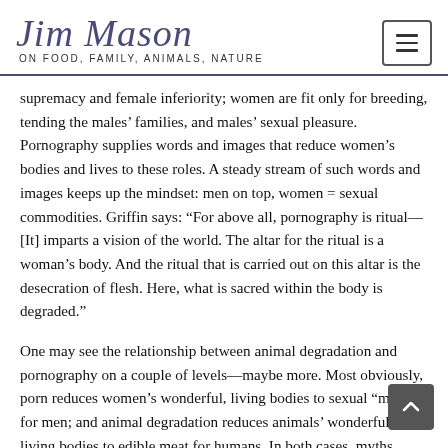Jim Mason ON FOOD, FAMILY, ANIMALS, NATURE
supremacy and female inferiority; women are fit only for breeding, tending the males’ families, and males’ sexual pleasure. Pornography supplies words and images that reduce women’s bodies and lives to these roles. A steady stream of such words and images keeps up the mindset: men on top, women = sexual commodities. Griffin says: “For above all, pornography is ritual—[It] imparts a vision of the world. The altar for the ritual is a woman’s body. And the ritual that is carried out on this altar is the desecration of flesh. Here, what is sacred within the body is degraded.”
One may see the relationship between animal degradation and pornography on a couple of levels—maybe more. Most obviously, porn reduces women’s wonderful, living bodies to sexual “meat” for men; and animal degradation reduces animals’ wonderful, living bodies to edible meat for humans. In both cases, myths, beliefs and rituals are employed so that the supremacist beings can enjoy their pleasures in the flesh of